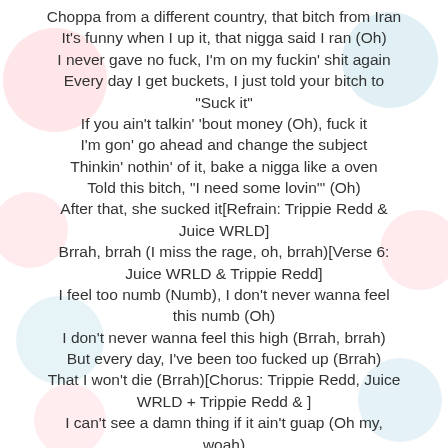Choppa from a different country, that bitch from Iran
It's funny when I up it, that nigga said I ran (Oh)
I never gave no fuck, I'm on my fuckin' shit again
Every day I get buckets, I just told your bitch to "Suck it"
If you ain't talkin' 'bout money (Oh), fuck it
I'm gon' go ahead and change the subject
Thinkin' nothin' of it, bake a nigga like a oven
Told this bitch, "I need some lovin'" (Oh)
After that, she sucked it[Refrain: Trippie Redd & Juice WRLD]
Brrah, brrah (I miss the rage, oh, brrah)[Verse 6: Juice WRLD & Trippie Redd]
I feel too numb (Numb), I don't never wanna feel this numb (Oh)
I don't never wanna feel this high (Brrah, brrah)
But every day, I've been too fucked up (Brrah)
That I won't die (Brrah)[Chorus: Trippie Redd, Juice WRLD + Trippie Redd & ]
I can't see a damn thing if it ain't guap (Oh my, woah)
I can't see a damn thing if it ain't guap (Oh my, woah)